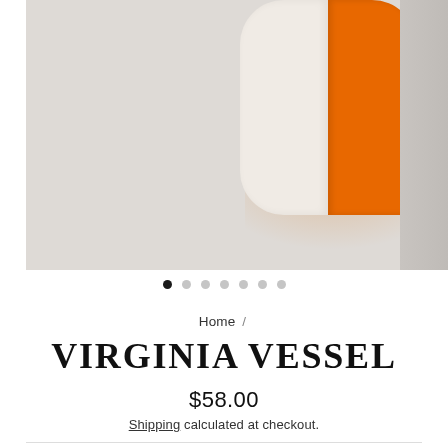[Figure (photo): Photo of the Virginia Vessel — a cylindrical ceramic vessel split vertically: left half cream/white, right half bright orange. Photographed on a light grey surface with soft shadow. A second partially-visible image appears cropped at the right edge.]
• • • • • • •  (carousel dots, first active)
Home /
VIRGINIA VESSEL
$58.00
Shipping calculated at checkout.